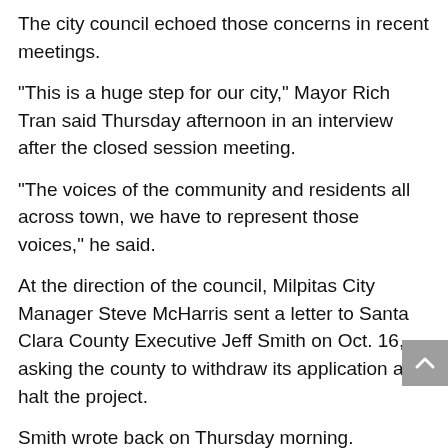The city council echoed those concerns in recent meetings.
"This is a huge step for our city," Mayor Rich Tran said Thursday afternoon in an interview after the closed session meeting.
"The voices of the community and residents all across town, we have to represent those voices," he said.
At the direction of the council, Milpitas City Manager Steve McHarris sent a letter to Santa Clara County Executive Jeff Smith on Oct. 16, asking the county to withdraw its application and halt the project.
Smith wrote back on Thursday morning.
"The Homekey Project has been an example of the county's and city's collaborative relationship and commitment to address the monumental problem of homelessness," Smith wrote to McHarris.
"The City Council's recent change in perspective represents